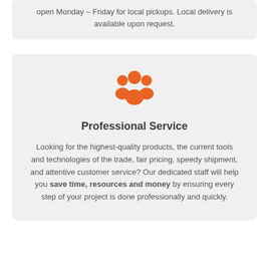open Monday – Friday for local pickups. Local delivery is available upon request.
[Figure (illustration): Orange icon showing three people/group representing professional service]
Professional Service
Looking for the highest-quality products, the current tools and technologies of the trade, fair pricing, speedy shipment, and attentive customer service? Our dedicated staff will help you save time, resources and money by ensuring every step of your project is done professionally and quickly.